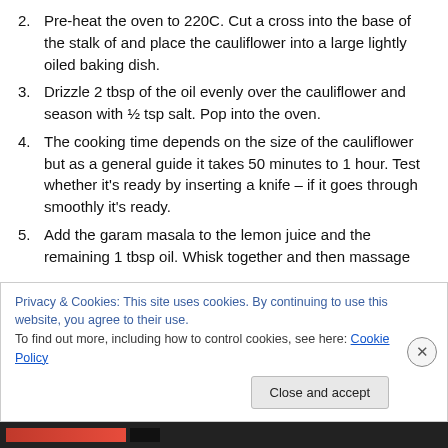2. Pre-heat the oven to 220C. Cut a cross into the base of the stalk of and place the cauliflower into a large lightly oiled baking dish.
3. Drizzle 2 tbsp of the oil evenly over the cauliflower and season with ½ tsp salt. Pop into the oven.
4. The cooking time depends on the size of the cauliflower but as a general guide it takes 50 minutes to 1 hour. Test whether it's ready by inserting a knife – if it goes through smoothly it's ready.
5. Add the garam masala to the lemon juice and the remaining 1 tbsp oil. Whisk together and then massage
Privacy & Cookies: This site uses cookies. By continuing to use this website, you agree to their use.
To find out more, including how to control cookies, see here: Cookie Policy